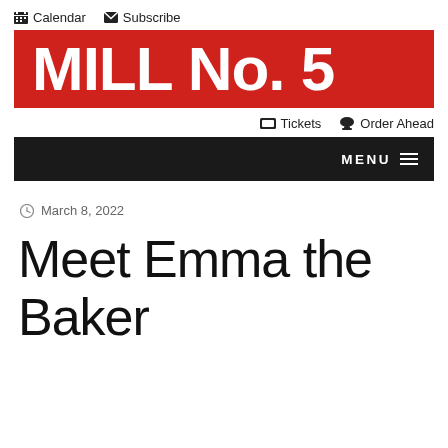Calendar  Subscribe
[Figure (logo): Mill No. 5 logo — white bold text on red background]
Tickets  Order Ahead
MENU
March 8, 2022
Meet Emma the Baker